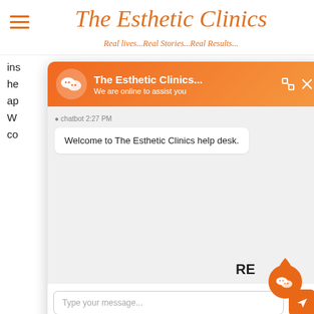The Esthetic Clinics — Real lives...Real Stories...Real Results...
ins... is an oral he... omas is not ap... y be needed. W... ving related co...
[Figure (screenshot): Chat widget popup from The Esthetic Clinics showing WeChat-style interface with header 'The Esthetic Clinics... We are online to assist you', chatbot message at 2:27 PM saying 'Welcome to The Esthetic Clinics help desk.', and input field 'Type your message...' with send button. Footer shows 'Powered by Kenyt.AI'. Floating orange chat button in bottom right corner.]